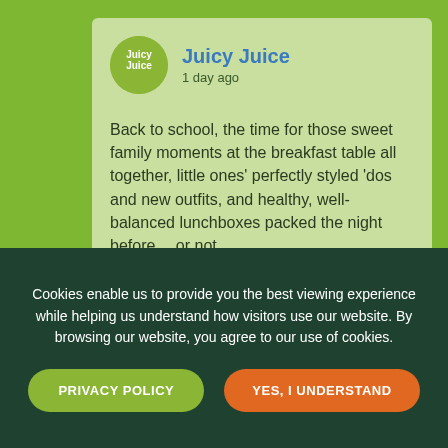[Figure (screenshot): Juicy Juice social media post card on a green background. Shows the Juicy Juice logo (circular green badge with white text), brand name 'Juicy Juice' in blue, timestamp '1 day ago', and post text about back to school and 'Siriously Delicious'.]
Back to school, the time for those sweet family moments at the breakfast table all together, little ones' perfectly styled 'dos and new outfits, and healthy, well-balanced lunchboxes packed the night before… or not.
We're reveling in the realness with Siriously Delicious this year and
Cookies enable us to provide you the best viewing experience while helping us understand how visitors use our website. By browsing our website, you agree to our use of cookies.
PRIVACY POLICY
YES, I UNDERSTAND